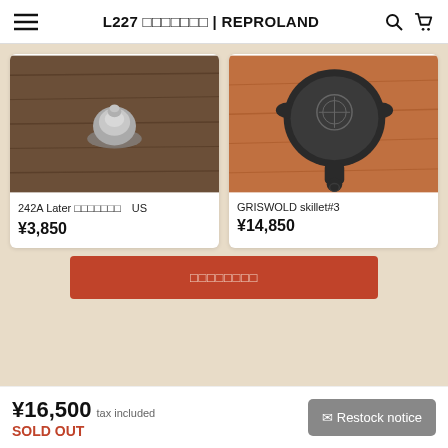L227 xxxxxxx | REPROLAND
[Figure (photo): Metal mushroom-shaped button/stud on wood surface]
242A Later xxxxxxx  US
¥3,850
[Figure (photo): GRISWOLD cast iron skillet #3 viewed from above on orange/wood surface]
GRISWOLD skillet#3
¥14,850
xxxxxxxx
¥16,500 tax included
SOLD OUT
✉ Restock notice